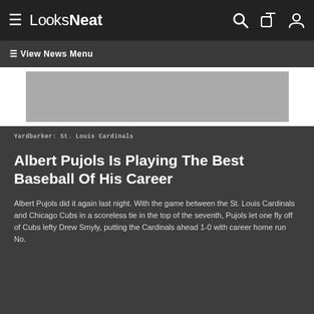LooksNeat
≡ View News Menu
[Figure (other): Grey advertisement/image placeholder banner]
Yardbarker: St. Louis Cardinals
Albert Pujols Is Playing The Best Baseball Of His Career
Albert Pujols did it again last night. With the game between the St. Louis Cardinals and Chicago Cubs in a scoreless tie in the top of the seventh, Pujols let one fly off of Cubs lefty Drew Smyly, putting the Cardinals ahead 1-0 with career home run No.